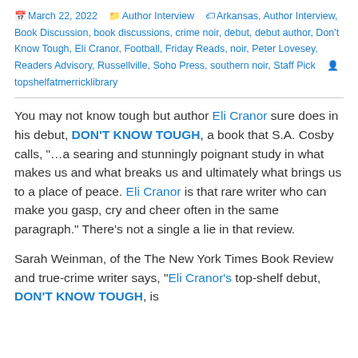March 22, 2022  Author Interview  Arkansas, Author Interview, Book Discussion, book discussions, crime noir, debut, debut author, Don't Know Tough, Eli Cranor, Football, Friday Reads, noir, Peter Lovesey, Readers Advisory, Russellville, Soho Press, southern noir, Staff Pick  topshelfatmerricklibrary
You may not know tough but author Eli Cranor sure does in his debut, DON'T KNOW TOUGH, a book that S.A. Cosby calls, “…a searing and stunningly poignant study in what makes us and what breaks us and ultimately what brings us to a place of peace. Eli Cranor is that rare writer who can make you gasp, cry and cheer often in the same paragraph.” There’s not a single a lie in that review.
Sarah Weinman, of the The New York Times Book Review and true-crime writer says, “Eli Cranor’s top-shelf debut, DON’T KNOW TOUGH, is